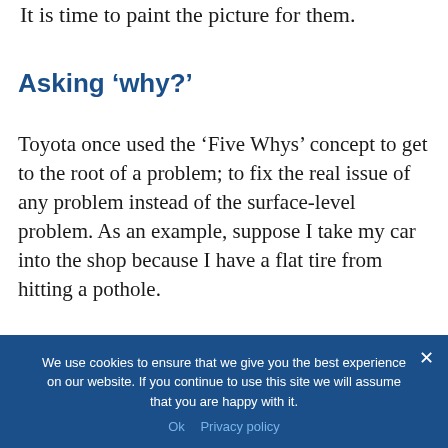It is time to paint the picture for them.
Asking ‘why?’
Toyota once used the ‘Five Whys’ concept to get to the root of a problem; to fix the real issue of any problem instead of the surface-level problem. As an example, suppose I take my car into the shop because I have a flat tire from hitting a pothole.
We use cookies to ensure that we give you the best experience on our website. If you continue to use this site we will assume that you are happy with it.
Ok   Privacy policy